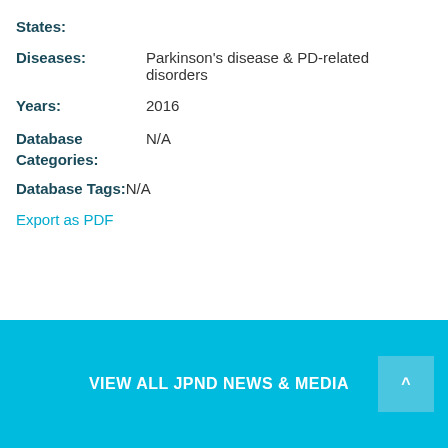States:
Diseases: Parkinson's disease & PD-related disorders
Years: 2016
Database Categories: N/A
Database Tags: N/A
Export as PDF
VIEW ALL JPND NEWS & MEDIA